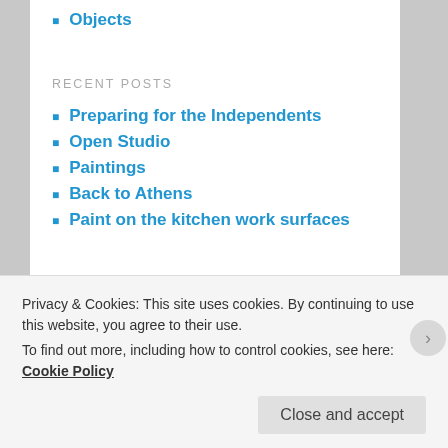Objects
RECENT POSTS
Preparing for the Independents
Open Studio
Paintings
Back to Athens
Paint on the kitchen work surfaces
ARCHIVES
June 2018
May 2018
November 2017
Privacy & Cookies: This site uses cookies. By continuing to use this website, you agree to their use.
To find out more, including how to control cookies, see here: Cookie Policy